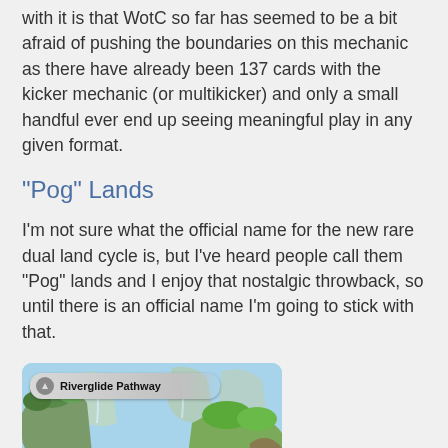with it is that WotC so far has seemed to be a bit afraid of pushing the boundaries on this mechanic as there have already been 137 cards with the kicker mechanic (or multikicker) and only a small handful ever end up seeing meaningful play in any given format.
"Pog" Lands
I'm not sure what the official name for the new rare dual land cycle is, but I've heard people call them "Pog" lands and I enjoy that nostalgic throwback, so until there is an official name I'm going to stick with that.
[Figure (photo): Magic: The Gathering card art for 'Riverglide Pathway' showing floating rocky cliffs with lush green vegetation against a blue sky background. The card name bar with a land symbol is visible at the top left of the card.]